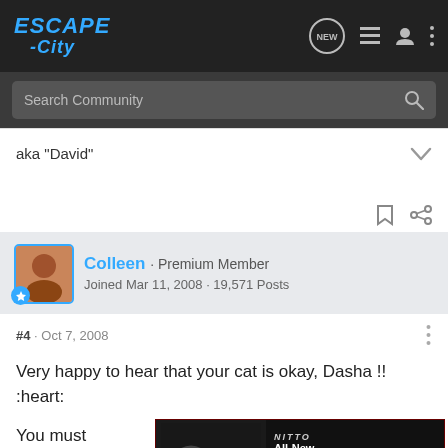ESCAPE -City
Search Community
aka "David"
Colleen · Premium Member
Joined Mar 11, 2008 · 19,571 Posts
#4 · Oct 7, 2008
Very happy to hear that your cat is okay, Dasha !! :heart:
[Figure (screenshot): Advertisement banner for Nitto All-New Nomad Grappler Crossover-Terrain Tire]
You must... s that you will ... and I